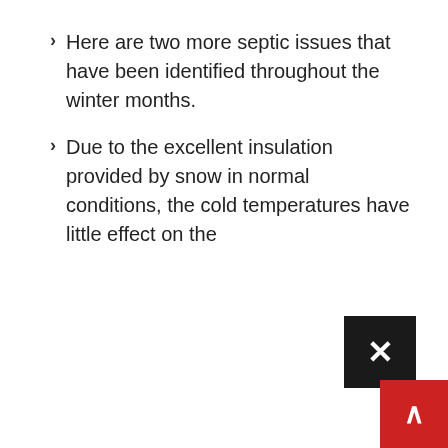Here are two more septic issues that have been identified throughout the winter months.
Due to the excellent insulation provided by snow in normal conditions, the cold temperatures have little effect on the